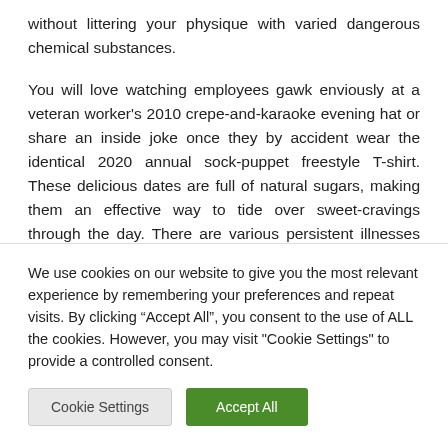without littering your physique with varied dangerous chemical substances.
You will love watching employees gawk enviously at a veteran worker’s 2010 crepe-and-karaoke evening hat or share an inside joke once they by accident wear the identical 2020 annual sock-puppet freestyle T-shirt. These delicious dates are full of natural sugars, making them an effective way to tide over sweet-cravings through the day. There are various persistent illnesses that people face that
We use cookies on our website to give you the most relevant experience by remembering your preferences and repeat visits. By clicking “Accept All”, you consent to the use of ALL the cookies. However, you may visit "Cookie Settings" to provide a controlled consent.
Cookie Settings | Accept All